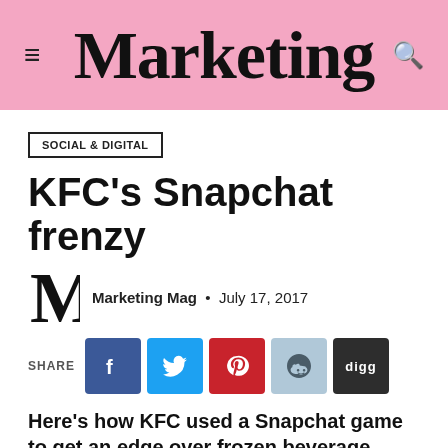Marketing
SOCIAL & DIGITAL
KFC's Snapchat frenzy
Marketing Mag · July 17, 2017
SHARE
Here's how KFC used a Snapchat game to get an edge over frozen beverage competitors.
This article originally appeared in The Generation